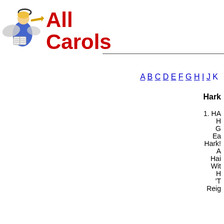[Figure (logo): All Carols website logo with angel illustration blowing a trumpet, accompanied by red bold text reading 'All Carols']
A B C D E F G H I J ...
Hark...
1. HA...
H...
G...
Ea...
Hark!...
A...
Hai...
Wit...
H...
'T...
Reig...